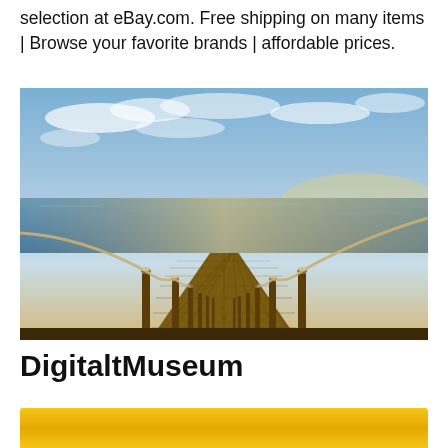selection at eBay.com. Free shipping on many items | Browse your favorite brands | affordable prices.
[Figure (photo): Wooden pier/dock extending into calm ocean water at dusk or dawn, with rope barriers on both sides held by wooden posts with lamp tops. Sky has scattered clouds with warm light on the horizon.]
DigitaltMuseum
[Figure (other): Gold/yellow horizontal bar at the bottom of the page]